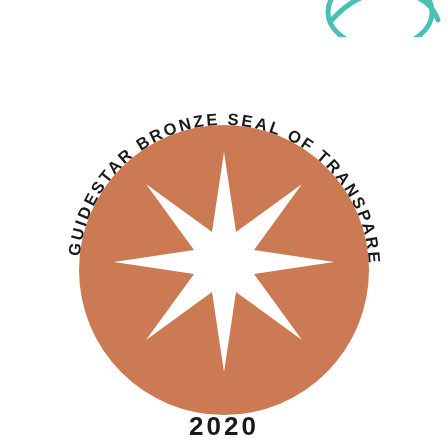[Figure (logo): GuideStar Bronze Seal of Transparency 2020 badge. A circular bronze/terracotta colored emblem with a white 8-pointed star burst in the center. The text 'GUIDESTAR BRONZE SEAL OF TRANSPARENCY' arcs around the circle. Below the seal is the year '2020'. At the top of the page, a partial teal/green circular logo is visible.]